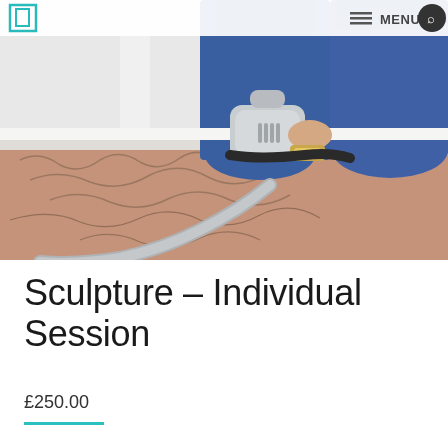MENU
[Figure (photo): A person lying down receiving a body sculpting/CoolSculpting treatment. A medical device applicator is placed on their tattooed abdomen, with a flexible tube connected. The person is wearing blue trousers and a gold watch. Clinical white room in background.]
Sculpture – Individual Session
£250.00